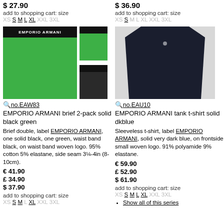$ 27.90
add to shopping cart: size
XS S M L XL XXL 3XL
[Figure (photo): Emporio Armani green brief 2-pack with black waistband, with two smaller thumbnail views]
no.EAW83
EMPORIO ARMANI brief 2-pack solid black green
Brief double, label EMPORIO ARMANI, one solid black, one green, waist band black, on waist band woven logo. 95% cotton 5% elastane, side seam 3¼-4in (8-10cm).
€ 41.90
£ 34.90
$ 37.90
add to shopping cart: size
XS S M L XL XXL 3XL
$ 36.90
add to shopping cart: size
XS S M L XL XXL 3XL
[Figure (photo): Emporio Armani dark blue/navy tank t-shirt sleeveless on mannequin]
no.EAU10
EMPORIO ARMANI tank t-shirt solid dkblue
Sleeveless t-shirt, label EMPORIO ARMANI, solid very dark blue, on frontside small woven logo. 91% polyamide 9% elastane.
€ 59.90
£ 52.90
$ 61.90
add to shopping cart: size
XS S M L XL XXL 3XL
Show all of this series